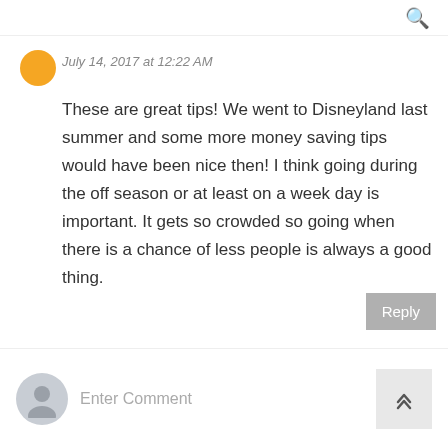🔍
July 14, 2017 at 12:22 AM
These are great tips! We went to Disneyland last summer and some more money saving tips would have been nice then! I think going during the off season or at least on a week day is important. It gets so crowded so going when there is a chance of less people is always a good thing.
Reply
Enter Comment